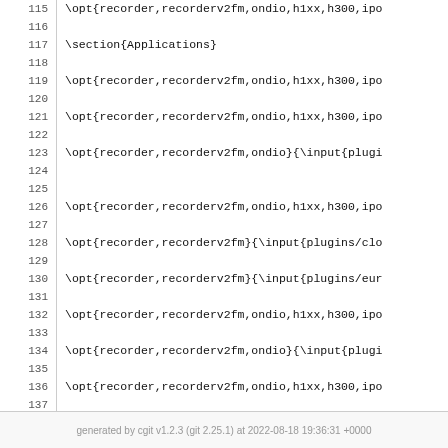115 | \opt{recorder,recorderv2fm,ondio,h1xx,h300,ipo
116 |
117 | \section{Applications}
118 |
119 | \opt{recorder,recorderv2fm,ondio,h1xx,h300,ipo
120 |
121 | \opt{recorder,recorderv2fm,ondio,h1xx,h300,ipo
122 |
123 | \opt{recorder,recorderv2fm,ondio}{\input{plugi
124 |
125 |
126 | \opt{recorder,recorderv2fm,ondio,h1xx,h300,ipo
127 |
128 | \opt{recorder,recorderv2fm}{\input{plugins/clo
129 |
130 | \opt{recorder,recorderv2fm}{\input{plugins/eur
131 |
132 | \opt{recorder,recorderv2fm,ondio,h1xx,h300,ipo
133 |
134 | \opt{recorder,recorderv2fm,ondio}{\input{plugi
135 |
136 | \opt{recorder,recorderv2fm,ondio,h1xx,h300,ipo
137 |
138 | \opt{recorder,recorderv2fm,ondio}{\input{plugi
139 |
140 | \opt{recorder,recorderv2fm,ondio,h1xx,h300,ipo
generated by cgit v1.2.3 (git 2.25.1) at 2022-08-18 19:36:31 +0000